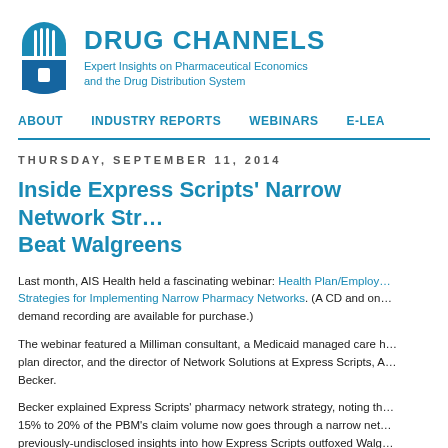[Figure (logo): Drug Channels logo: a blue pill/capsule icon with vertical lines, alongside the text DRUG CHANNELS and subtitle Expert Insights on Pharmaceutical Economics and the Drug Distribution System]
ABOUT   INDUSTRY REPORTS   WEBINARS   E-LEA
THURSDAY, SEPTEMBER 11, 2014
Inside Express Scripts' Narrow Network Str... Beat Walgreens
Last month, AIS Health held a fascinating webinar: Health Plan/Employer Strategies for Implementing Narrow Pharmacy Networks. (A CD and on-demand recording are available for purchase.)
The webinar featured a Milliman consultant, a Medicaid managed care h... plan director, and the director of Network Solutions at Express Scripts, A... Becker.
Becker explained Express Scripts' pharmacy network strategy, noting th... 15% to 20% of the PBM's claim volume now goes through a narrow net... previously-undisclosed insights into how Express Scripts outfoxed Walg...